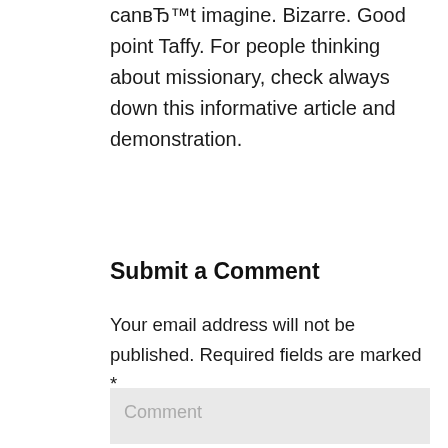can’t imagine. Bizarre. Good point Taffy. For people thinking about missionary, check always down this informative article and demonstration.
Submit a Comment
Your email address will not be published. Required fields are marked *
Comment